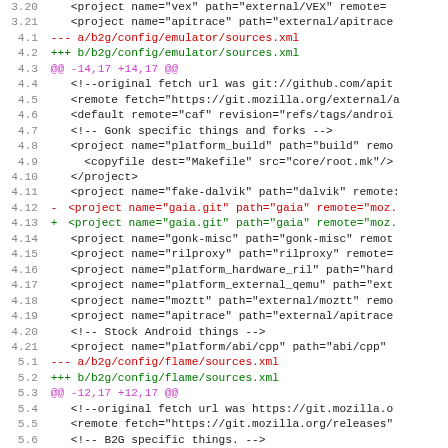Code diff showing changes to b2g/config/emulator/sources.xml and b2g/config/flame/sources.xml
3.20  <project name="vex" path="external/VEX" remote=
3.21  <project name="apitrace" path="external/apitrace
4.1  --- a/b2g/config/emulator/sources.xml
4.2  +++ b/b2g/config/emulator/sources.xml
4.3  @@ -14,17 +14,17 @@
4.4  <!--original fetch url was git://github.com/apit
4.5  <remote fetch="https://git.mozilla.org/external/a
4.6  <default remote="caf" revision="refs/tags/androi
4.7  <!-- Gonk specific things and forks -->
4.8  <project name="platform_build" path="build" remo
4.9  <copyfile dest="Makefile" src="core/root.mk"/>
4.10  </project>
4.11  <project name="fake-dalvik" path="dalvik" remote:
4.12  - <project name="gaia.git" path="gaia" remote="moz.
4.13  + <project name="gaia.git" path="gaia" remote="moz.
4.14  <project name="gonk-misc" path="gonk-misc" remot
4.15  <project name="rilproxy" path="rilproxy" remote=
4.16  <project name="platform_hardware_ril" path="hard
4.17  <project name="platform_external_qemu" path="ext
4.18  <project name="moztt" path="external/moztt" remo
4.19  <project name="apitrace" path="external/apitrace
4.20  <!-- Stock Android things -->
4.21  <project name="platform/abi/cpp" path="abi/cpp"
5.1  --- a/b2g/config/flame/sources.xml
5.2  +++ b/b2g/config/flame/sources.xml
5.3  @@ -12,17 +12,17 @@
5.4  <!--original fetch url was https://git.mozilla.o
5.5  <remote fetch="https://git.mozilla.org/releases"
5.6  <!-- B2G specific things. -->
5.7  <project name="platform_build" path="build" remo
5.8  <copyfile dest="Makefile" src="core/root.mk"/>
5.9  </project>